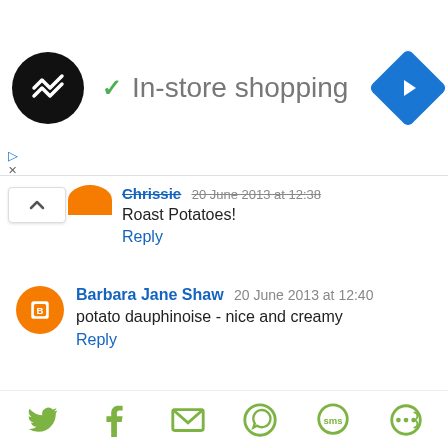In-store shopping
Chrissie 20 June 2013 at 12:38
Roast Potatoes!
Reply
Barbara Jane Shaw 20 June 2013 at 12:40
potato dauphinoise - nice and creamy
Reply
Anonymous 20 June 2013 at 12:45
A lovely buttery mash!
Reply
Share icons: Twitter, Facebook, Email, WhatsApp, SMS, Other